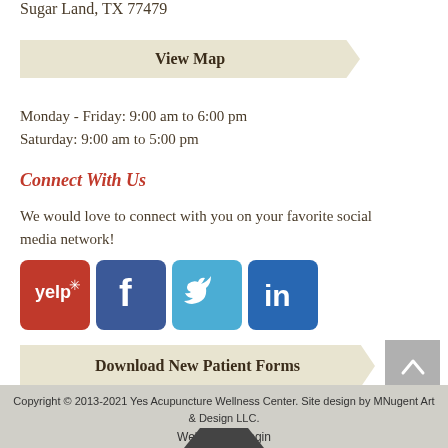Sugar Land, TX 77479
View Map
Monday - Friday: 9:00 am to 6:00 pm
Saturday: 9:00 am to 5:00 pm
Connect With Us
We would love to connect with you on your favorite social media network!
[Figure (logo): Social media icons: Yelp, Facebook, Twitter, LinkedIn]
Download New Patient Forms
Copyright © 2013-2021 Yes Acupuncture Wellness Center. Site design by MNugent Art & Design LLC.
Webmaster Login